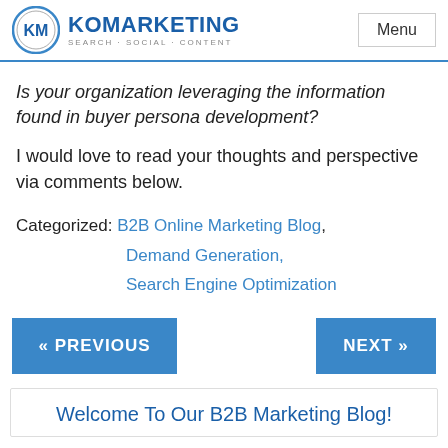KO MARKETING SEARCH·SOCIAL·CONTENT | Menu
Is your organization leveraging the information found in buyer persona development?
I would love to read your thoughts and perspective via comments below.
Categorized: B2B Online Marketing Blog, Demand Generation, Search Engine Optimization
« PREVIOUS    NEXT »
Welcome To Our B2B Marketing Blog!